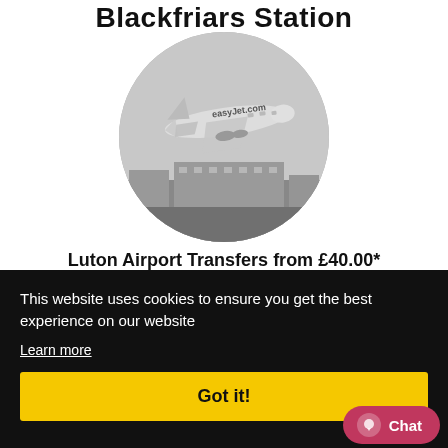Blackfriars Station
[Figure (photo): Black and white circular photo of an airplane (easyJet.com livery) taking off or landing near an airport terminal building]
Luton Airport Transfers from £40.00*
This website uses cookies to ensure you get the best experience on our website
Learn more
Got it!
Chat